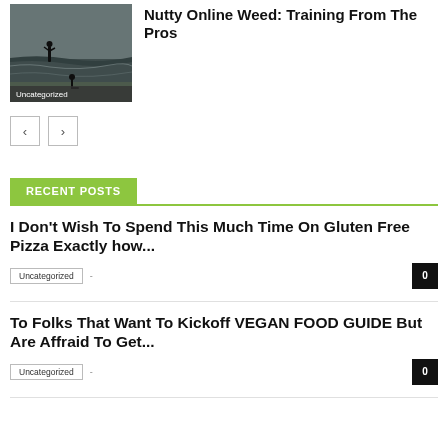[Figure (photo): Black and white beach photo with silhouettes of two people, labeled Uncategorized]
Nutty Online Weed: Training From The Pros
< (previous page button)
> (next page button)
RECENT POSTS
I Don't Wish To Spend This Much Time On Gluten Free Pizza Exactly how...
Uncategorized  -  0
To Folks That Want To Kickoff VEGAN FOOD GUIDE But Are Affraid To Get...
Uncategorized  -  0